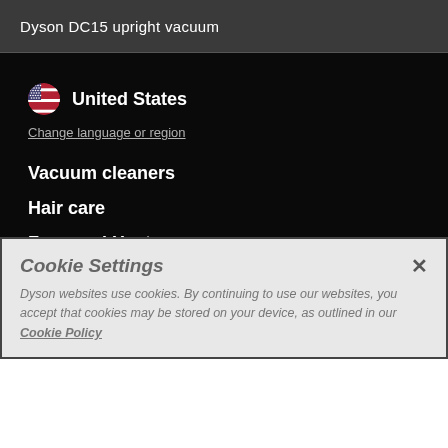Dyson DC15 upright vacuum
United States
Change language or region
Vacuum cleaners
Hair care
Fans and Heaters
Support
Cookie Settings
Dyson websites use cookies. By continuing to use our websites, you accept that cookies may be stored on your device, as outlined in our Cookie Policy